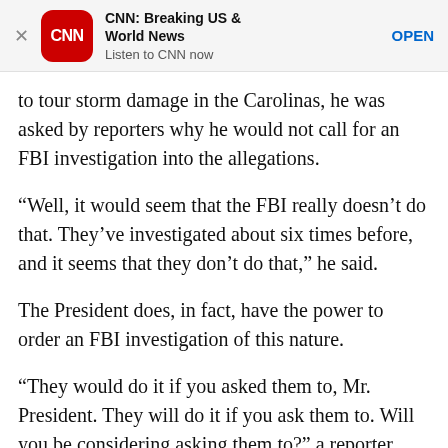[Figure (other): CNN app advertisement banner with CNN logo (red rounded square with white CNN text), app name 'CNN: Breaking US & World News', subtitle 'Listen to CNN now', and OPEN button]
to tour storm damage in the Carolinas, he was asked by reporters why he would not call for an FBI investigation into the allegations.
“Well, it would seem that the FBI really doesn’t do that. They’ve investigated about six times before, and it seems that they don’t do that,” he said.
The President does, in fact, have the power to order an FBI investigation of this nature.
“They would do it if you asked them to, Mr. President. They will do it if you ask them to. Will you be considering asking them to?” a reporter asked.
Trump responded that he would “let the senators do